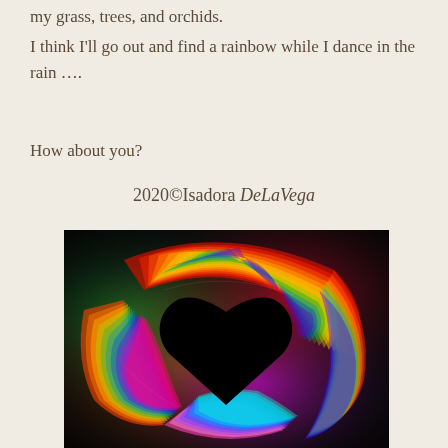my grass, trees, and orchids.
I think I'll go out and find a rainbow while I dance in the rain ….
How about you?
2020©Isadora DeLaVega
[Figure (illustration): A colorful swirling rainbow of light forming a heart shape with a black center on a dark background.]